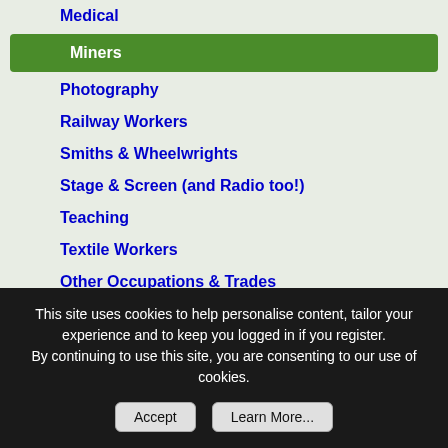Medical
Miners
Photography
Railway Workers
Smiths & Wheelwrights
Stage & Screen (and Radio too!)
Teaching
Textile Workers
Other Occupations & Trades
Military Ancestors
British Army
Royal Air Force
Royal Navy & Royal Marines
U.K. Forces General
Non U.K. Forces
This site uses cookies to help personalise content, tailor your experience and to keep you logged in if you register.
By continuing to use this site, you are consenting to our use of cookies.
Accept  Learn More...